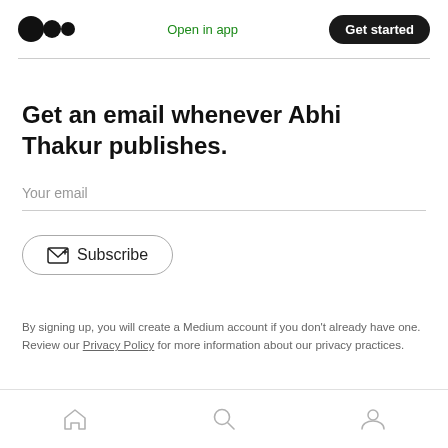Medium logo | Open in app | Get started
Get an email whenever Abhi Thakur publishes.
Your email
Subscribe
By signing up, you will create a Medium account if you don't already have one. Review our Privacy Policy for more information about our privacy practices.
Home | Search | Profile